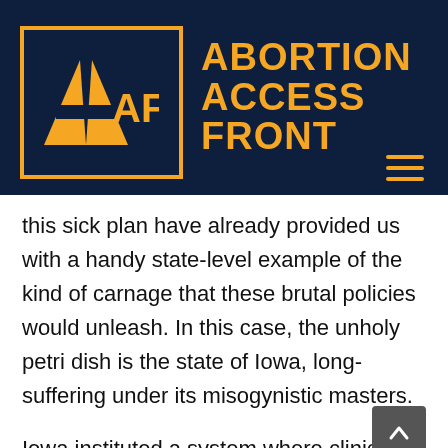[Figure (logo): Abortion Access Front logo: orange AAF triangle/letter mark inside an orange-bordered rectangle on dark navy background, with 'ABORTION ACCESS FRONT' in bold orange text to the right]
this sick plan have already provided us with a handy state-level example of the kind of carnage that these brutal policies would unleash. In this case, the unholy petri dish is the state of Iowa, long-suffering under its misogynistic masters.
Iowa instituted a system where clinics that